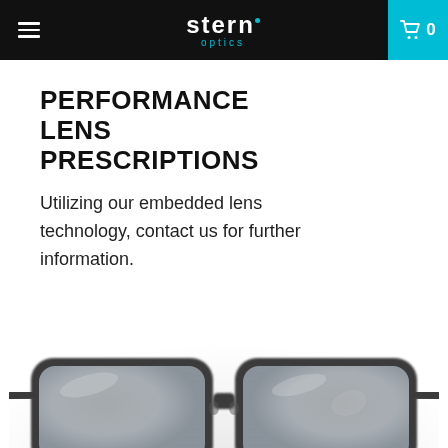stern optics — navigation bar with hamburger menu and cart
PERFORMANCE LENS PRESCRIPTIONS
Utilizing our embedded lens technology, contact us for further information.
[Figure (photo): Close-up photograph of a pair of sport/safety eyeglasses with dark frames and clear lenses, slightly blurred/bokeh background, partially cropped at bottom of page.]